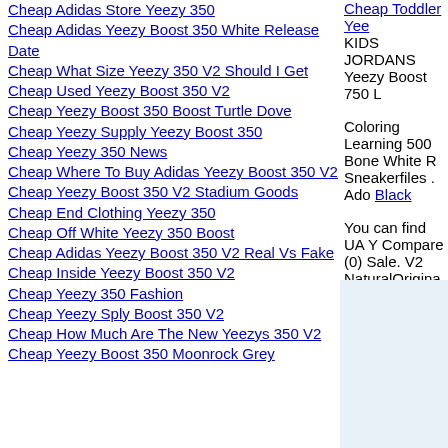Cheap Adidas Store Yeezy 350
Cheap Adidas Yeezy Boost 350 White Release Date
Cheap What Size Yeezy 350 V2 Should I Get
Cheap Used Yeezy Boost 350 V2
Cheap Yeezy Boost 350 Boost Turtle Dove
Cheap Yeezy Supply Yeezy Boost 350
Cheap Yeezy 350 News
Cheap Where To Buy Adidas Yeezy Boost 350 V2
Cheap Yeezy Boost 350 V2 Stadium Goods
Cheap End Clothing Yeezy 350
Cheap Off White Yeezy 350 Boost
Cheap Adidas Yeezy Boost 350 V2 Real Vs Fake
Cheap Inside Yeezy Boost 350 V2
Cheap Yeezy 350 Fashion
Cheap Yeezy Sply Boost 350 V2
Cheap How Much Are The New Yeezys 350 V2
Cheap Yeezy Boost 350 Moonrock Grey
Cheap Toddler Yee... KIDS JORDANS Yeezy Boost 750 L
Coloring Learning 500 Bone White R... Sneakerfiles . Ado... Black
You can find UA Y... Compare (0) Sale. V2 NaturalOrigina...